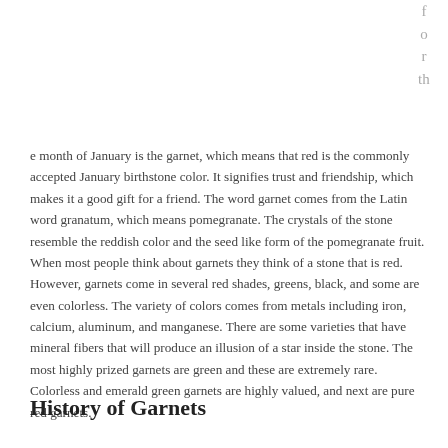f
o
r
th
e month of January is the garnet, which means that red is the commonly accepted January birthstone color. It signifies trust and friendship, which makes it a good gift for a friend. The word garnet comes from the Latin word granatum, which means pomegranate. The crystals of the stone resemble the reddish color and the seed like form of the pomegranate fruit. When most people think about garnets they think of a stone that is red. However, garnets come in several red shades, greens, black, and some are even colorless. The variety of colors comes from metals including iron, calcium, aluminum, and manganese. There are some varieties that have mineral fibers that will produce an illusion of a star inside the stone. The most highly prized garnets are green and these are extremely rare. Colorless and emerald green garnets are highly valued, and next are pure red garnets.
History of Garnets